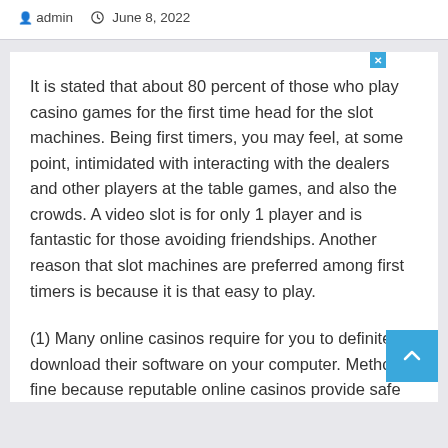admin   June 8, 2022
It is stated that about 80 percent of those who play casino games for the first time head for the slot machines. Being first timers, you may feel, at some point, intimidated with interacting with the dealers and other players at the table games, and also the crowds. A video slot is for only 1 player and is fantastic for those avoiding friendships. Another reason that slot machines are preferred among first timers is because it is that easy to play.
(1) Many online casinos require for you to definitely download their software on your computer. Method is fine because reputable online casinos provide safe downloads that never harm your